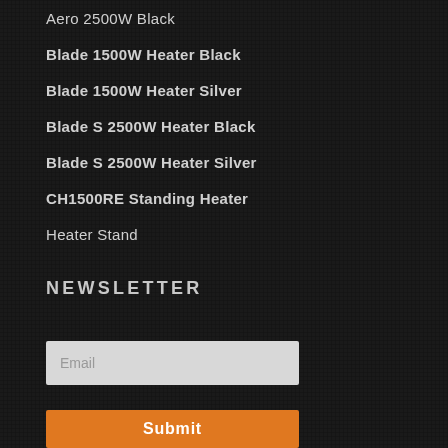Aero 2500W Black
Blade 1500W Heater Black
Blade 1500W Heater Silver
Blade S 2500W Heater Black
Blade S 2500W Heater Silver
CH1500RE Standing Heater
Heater Stand
NEWSLETTER
Email
Submit